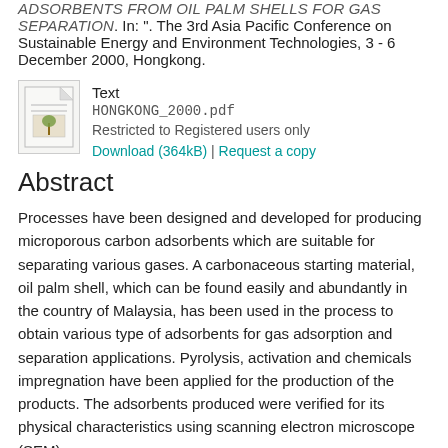ADSORBENTS FROM OIL PALM SHELLS FOR GAS SEPARATION. In: ". The 3rd Asia Pacific Conference on Sustainable Energy and Environment Technologies, 3 - 6 December 2000, Hongkong.
[Figure (other): Document file icon with text label 'Text', filename 'HONGKONG_2000.pdf', restriction notice 'Restricted to Registered users only', and download links 'Download (364kB) | Request a copy']
Abstract
Processes have been designed and developed for producing microporous carbon adsorbents which are suitable for separating various gases. A carbonaceous starting material, oil palm shell, which can be found easily and abundantly in the country of Malaysia, has been used in the process to obtain various type of adsorbents for gas adsorption and separation applications. Pyrolysis, activation and chemicals impregnation have been applied for the production of the products. The adsorbents produced were verified for its physical characteristics using scanning electron microscope (SEM),